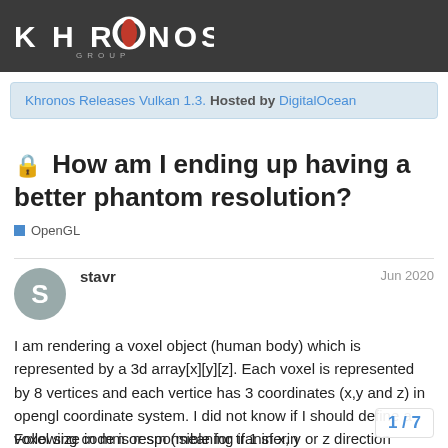Khronos Group
Khronos Releases Vulkan 1.3. Hosted by DigitalOcean
🔒 How am I ending up having a better phantom resolution?
OpenGL
stavr   Jun 2020
I am rendering a voxel object (human body) which is represented by a 3d array[x][y][z]. Each voxel is represented by 8 vertices and each vertice has 3 coordinates (x,y and z) in opengl coordinate system. I did not know if I should define a voxel size in mm or sm (meaning if 1 in x, y or z direction should correspond to 1sm or 1mm) so I decide to try both ways.
Following code is responsible for transferin
1 / 7